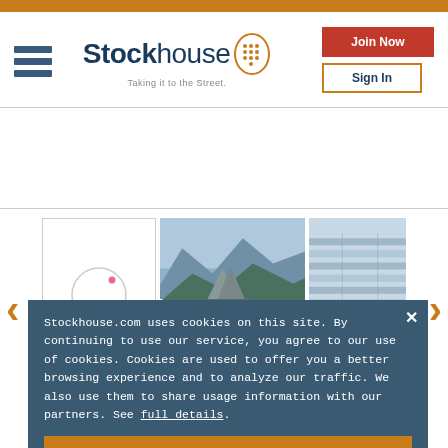Stockhouse - Taking it to the Street.
[Figure (logo): Stockhouse logo with circular dot icon and tagline 'Taking it to the Street.']
[Figure (screenshot): Carousel with three items: First Helium logo card, mountain landscape photo, financial chart/table photo. Left and right orange navigation arrows.]
Stockhouse.com uses cookies on this site. By continuing to use our service, you agree to our use of cookies. Cookies are used to offer you a better browsing experience and to analyze our traffic. We also use them to share usage information with our partners. See full details.
I Agree